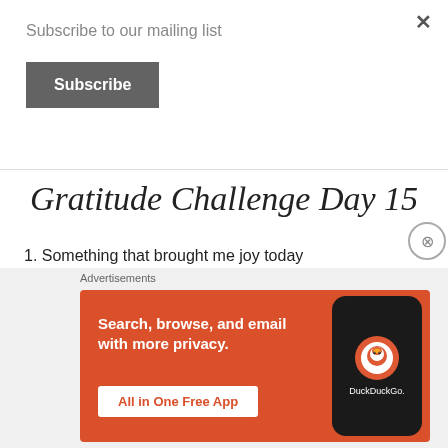Subscribe to our mailing list
Subscribe
Gratitude Challenge Day 15
1. Something that brought me joy today
2. A unique family tradition that I love
3. Something that I take for granted
4. My favorite self-care habit
Advertisements
[Figure (screenshot): DuckDuckGo advertisement banner: orange background with text 'Search, browse, and email with more privacy. All in One Free App' and a phone showing the DuckDuckGo logo]